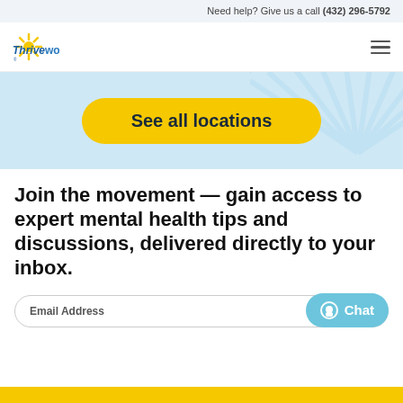Need help? Give us a call (432) 296-5792
[Figure (logo): Thriveworks logo with sun rays icon and blue text]
[Figure (other): Light blue hero banner with a large yellow rounded button labeled 'See all locations' and a decorative sun watermark on the right]
Join the movement — gain access to expert mental health tips and discussions, delivered directly to your inbox.
Email Address
[Figure (other): Blue rounded Chat button with chat bubble icon]